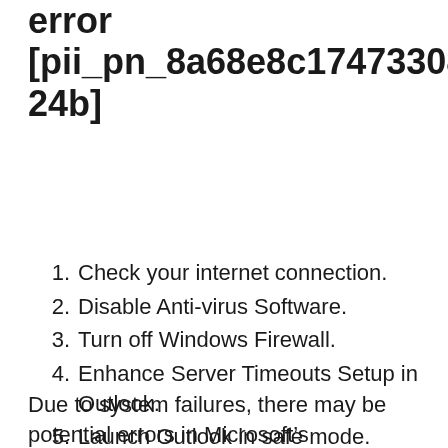error [pii_pn_8a68e8c174733080624b]
Check your internet connection.
Disable Anti-virus Software.
Turn off Windows Firewall.
Enhance Server Timeouts Setup in Outlook.
Launch Outlook in safe mode.
Configure Outlook PST Files.
Due to system failures, there may be potential errors in Microsoft’s appearance. In the event that you have an error